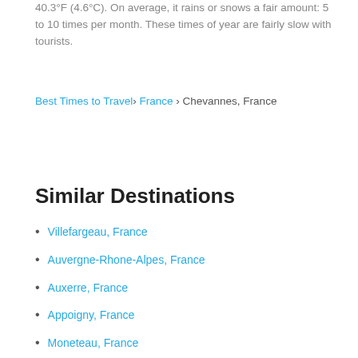40.3°F (4.6°C). On average, it rains or snows a fair amount: 5 to 10 times per month. These times of year are fairly slow with tourists.
Best Times to Travel › France › Chevannes, France
Similar Destinations
Villefargeau, France
Auvergne-Rhone-Alpes, France
Auxerre, France
Appoigny, France
Moneteau, France
Leugny, France
Venoy, France